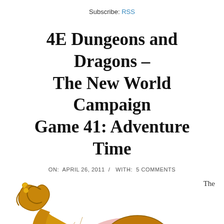Subscribe: RSS
4E Dungeons and Dragons – The New World Campaign Game 41: Adventure Time
ON:  APRIL 26, 2011  /  WITH:  5 COMMENTS
[Figure (illustration): Cartoon illustration of a large worm-like creature lying on its back with its mouth open, showing orange spots inside. The creature is golden-brown colored with small wings and a curled tail. There is a pink/red shadow behind it. The word 'The' appears to the right of the illustration.]